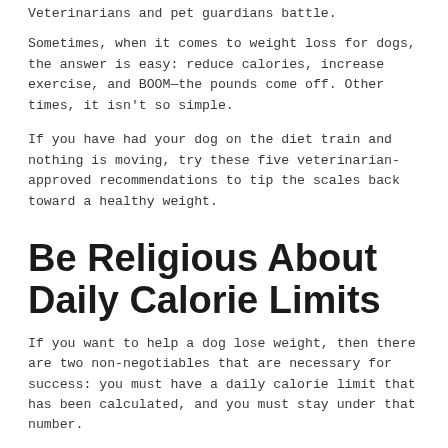Veterinarians and pet guardians battle.
Sometimes, when it comes to weight loss for dogs, the answer is easy: reduce calories, increase exercise, and BOOM—the pounds come off. Other times, it isn't so simple.
If you have had your dog on the diet train and nothing is moving, try these five veterinarian-approved recommendations to tip the scales back toward a healthy weight.
Be Religious About Daily Calorie Limits
If you want to help a dog lose weight, then there are two non-negotiables that are necessary for success: you must have a daily calorie limit that has been calculated, and you must stay under that number.
A cheat day every now and then is okay, but in order to get the fat to burn away, the ins must be less